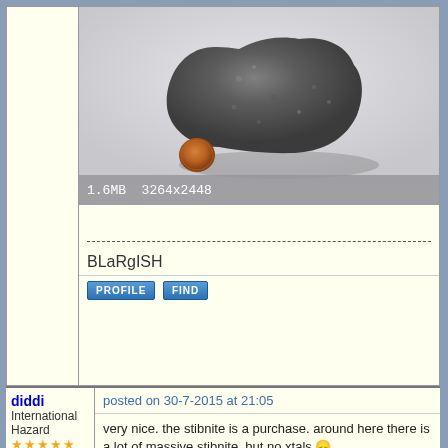[Figure (photo): A dark gray rough rock/stone next to a penny coin for scale, placed on a white/light gray surface. Image metadata shows 1.6MB 3264x2448.]
1.6MB  3264x2448
BLaRgISH
PROFILE   FIND
diddi
International Hazard
★★★★★
Posts: 723
Registered: 23-9-2014
Location:
posted on 30-7-2015 at 21:05
very nice. the stibnite is a purchase. around here there is a lot of massive stibnite, but no xtals 😕

not sure that that is a hornblende? the black crystals should be rectangular, yours look spherical?